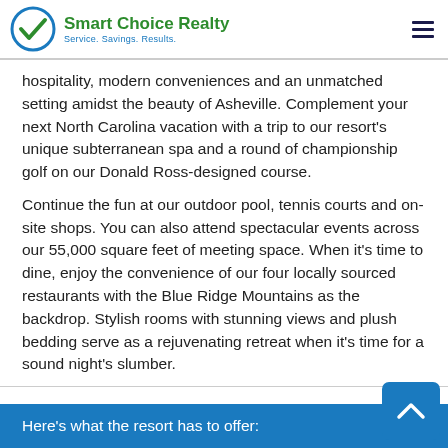Smart Choice Realty — Service. Savings. Results.
hospitality, modern conveniences and an unmatched setting amidst the beauty of Asheville. Complement your next North Carolina vacation with a trip to our resort's unique subterranean spa and a round of championship golf on our Donald Ross-designed course.
Continue the fun at our outdoor pool, tennis courts and on-site shops. You can also attend spectacular events across our 55,000 square feet of meeting space. When it's time to dine, enjoy the convenience of our four locally sourced restaurants with the Blue Ridge Mountains as the backdrop. Stylish rooms with stunning views and plush bedding serve as a rejuvenating retreat when it's time for a sound night's slumber.
Here's what the resort has to offer: